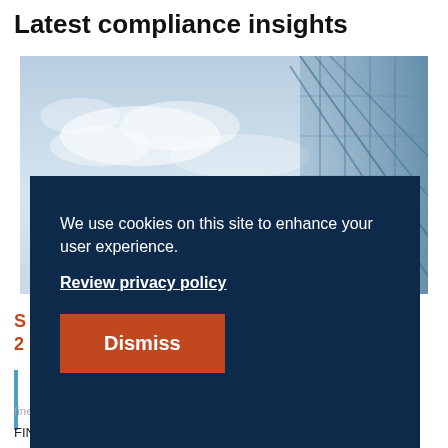Latest compliance insights
[Figure (photo): Exterior photo of a glass office building with blue cloudy sky, viewed from below at an angle]
We use cookies on this site to enhance your user experience.
Review privacy policy
Dismiss
S...
2...
fines totaling almost $1,500M in 2021, in comparison,
FINRA only issued a total of $57M in fines during